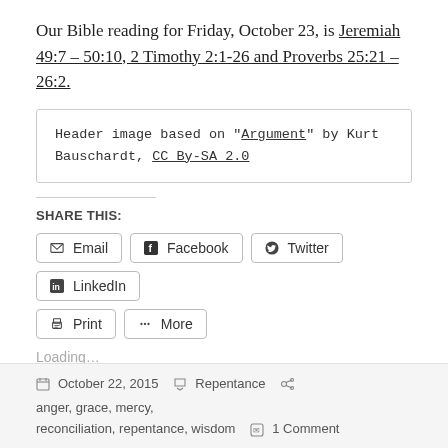Our Bible reading for Friday, October 23, is Jeremiah 49:7 – 50:10, 2 Timothy 2:1-26 and Proverbs 25:21 – 26:2.
Header image based on "Argument" by Kurt Bauschardt, CC By-SA 2.0
SHARE THIS:
Email  Facebook  Twitter  LinkedIn  Print  More
Loading...
October 22, 2015   Repentance   anger, grace, mercy, reconciliation, repentance, wisdom   1 Comment